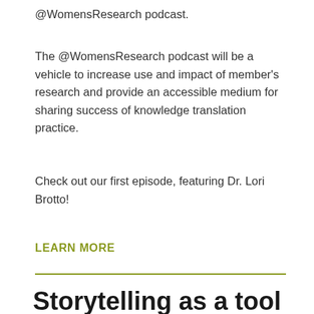@WomensResearch podcast.
The @WomensResearch podcast will be a vehicle to increase use and impact of member's research and provide an accessible medium for sharing success of knowledge translation practice.
Check out our first episode, featuring Dr. Lori Brotto!
LEARN MORE
Storytelling as a tool